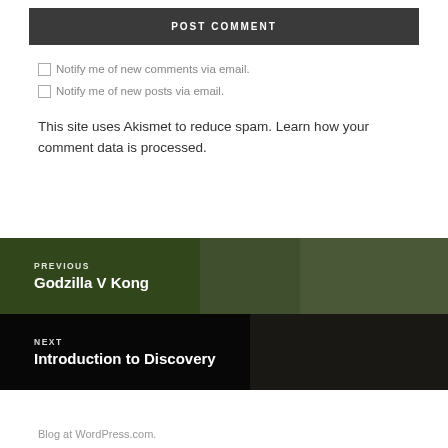POST COMMENT
Notify me of new comments via email.
Notify me of new posts via email.
This site uses Akismet to reduce spam. Learn how your comment data is processed.
PREVIOUS
Godzilla V Kong
NEXT
Introduction to Discovery
Blog at WordPress.com.